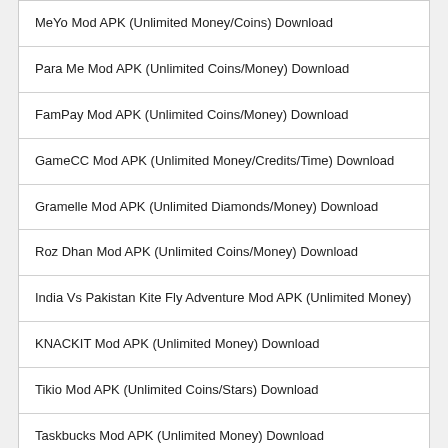MeYo Mod APK (Unlimited Money/Coins) Download
Para Me Mod APK (Unlimited Coins/Money) Download
FamPay Mod APK (Unlimited Coins/Money) Download
GameCC Mod APK (Unlimited Money/Credits/Time) Download
Gramelle Mod APK (Unlimited Diamonds/Money) Download
Roz Dhan Mod APK (Unlimited Coins/Money) Download
India Vs Pakistan Kite Fly Adventure Mod APK (Unlimited Money)
KNACKIT Mod APK (Unlimited Money) Download
Tikio Mod APK (Unlimited Coins/Stars) Download
Taskbucks Mod APK (Unlimited Money) Download
CATEGORIES
Apps
Books
Communication